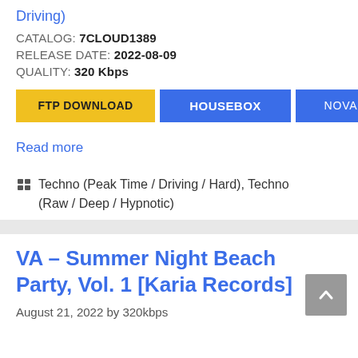Driving)
CATALOG: 7CLOUD1389
RELEASE DATE: 2022-08-09
QUALITY: 320 Kbps
FTP DOWNLOAD
HOUSEBOX
NOVAFILE
Read more
Techno (Peak Time / Driving / Hard), Techno (Raw / Deep / Hypnotic)
VA – Summer Night Beach Party, Vol. 1 [Karia Records]
August 21, 2022 by 320kbps